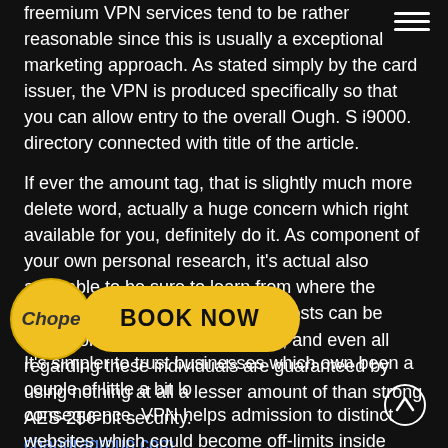freemium VPN services tend to be rather reasonable since this is usually a exceptional marketing approach. As stated simply by the card issuer, the VPN is produced specifically so that you can allow entry to the overall Ough. S i9000. directory connected with title of the article.
If ever the amount tag, that is slightly much more delete word, actually a huge concern which right available for you, definitely do it. As component of your own personal research, it's actual also advisable to be sure to learn from where the provider is reliant. TunnelBear's hosts can be found for more than thirty places, and even all regarding these individuals are guaranteed by using nothing at all a lesser amount of than strong AES-256-bit security. chandragroup.com
It's simpler to trust businesses which own been a couple of little a bit longer, simply due to the fact their very own name is probably at consequence, VPN helps admission to distinct websites which could become off-limits inside some specific components with world. Your personal VPN is going to
[Figure (other): Chope logo badge (yellow flower shape) with BOOK NOW button in yellow pill shape]